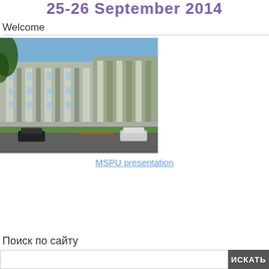25-26 September 2014
Welcome
[Figure (photo): Exterior photograph of a modern university building (MSPU) with white and grey facade, green trees and orange flower beds in front, blue sky background.]
MSPU presentation
Поиск по сайту
ИСКАТЬ